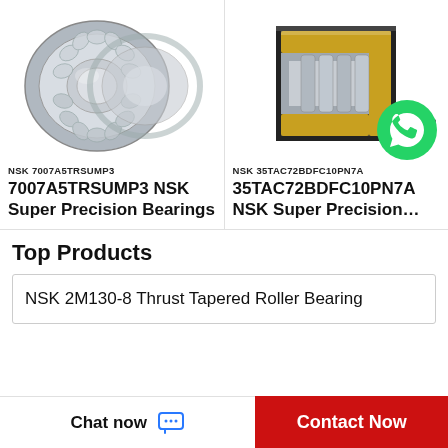[Figure (photo): NSK double-row spherical roller bearing, silver/chrome, shown disassembled at an angle]
NSK 7007A5TRSUMP3
7007A5TRSUMP3 NSK Super Precision Bearings
[Figure (photo): NSK cylindrical roller bearing cross-section, gold/silver/dark, with WhatsApp icon overlay showing 'WhatsApp Online']
NSK 35TAC72BDFC10PN7A
35TAC72BDFC10PN7A NSK Super Precision…
Top Products
NSK 2M130-8 Thrust Tapered Roller Bearing
Chat now
Contact Now